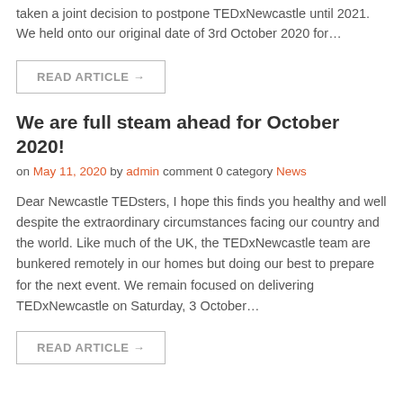taken a joint decision to postpone TEDxNewcastle until 2021. We held onto our original date of 3rd October 2020 for…
READ ARTICLE →
We are full steam ahead for October 2020!
on May 11, 2020 by admin comment 0 category News
Dear Newcastle TEDsters, I hope this finds you healthy and well despite the extraordinary circumstances facing our country and the world. Like much of the UK, the TEDxNewcastle team are bunkered remotely in our homes but doing our best to prepare for the next event. We remain focused on delivering TEDxNewcastle on Saturday, 3 October…
READ ARTICLE →